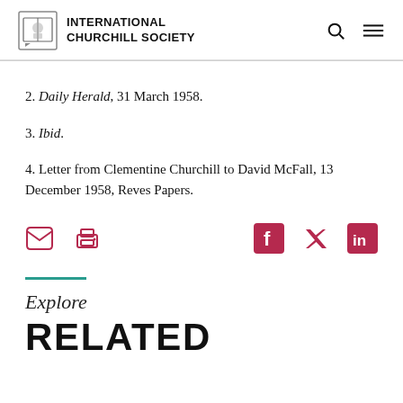INTERNATIONAL CHURCHILL SOCIETY
2. Daily Herald, 31 March 1958.
3. Ibid.
4. Letter from Clementine Churchill to David McFall, 13 December 1958, Reves Papers.
Explore
RELATED